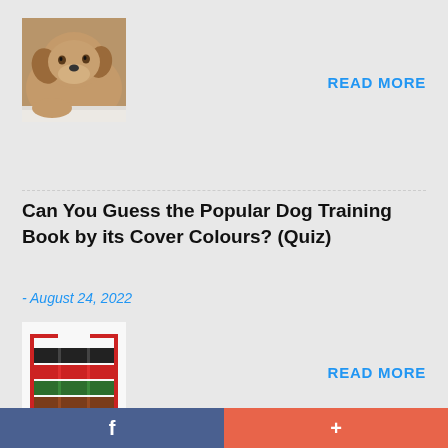[Figure (photo): A resting brown/tan dog lying down, close-up photo]
READ MORE
Can You Guess the Popular Dog Training Book by its Cover Colours? (Quiz)
- August 24, 2022
[Figure (photo): Stack of dog training book spines showing black, red, green, and brown color bands with red bracket overlay]
READ MORE
f  +